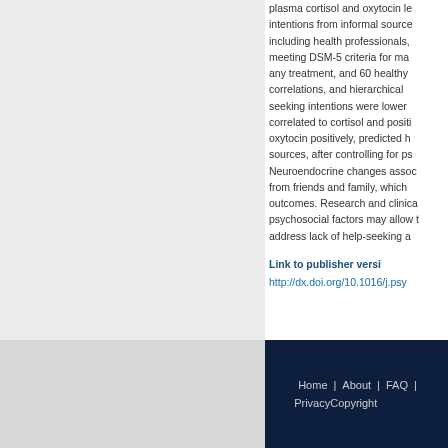plasma cortisol and oxytocin le... intentions from informal source... including health professionals,... meeting DSM-5 criteria for ma... any treatment, and 60 healthy... correlations, and hierarchical... seeking intentions were lower... correlated to cortisol and posit... oxytocin positively, predicted h... sources, after controlling for ps... Neuroendocrine changes assoc... from friends and family, which... outcomes. Research and clinica... psychosocial factors may allow t... address lack of help-seeking a...
Link to publisher versi...
http://dx.doi.org/10.1016/j.psy...
Home | About | FAQ | Privacy Copyright